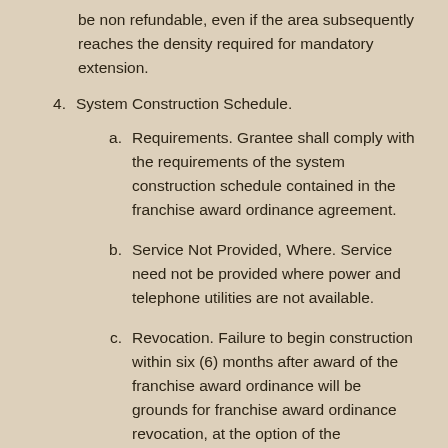be non refundable, even if the area subsequently reaches the density required for mandatory extension.
4. System Construction Schedule.
a. Requirements. Grantee shall comply with the requirements of the system construction schedule contained in the franchise award ordinance agreement.
b. Service Not Provided, Where. Service need not be provided where power and telephone utilities are not available.
c. Revocation. Failure to begin construction within six (6) months after award of the franchise award ordinance will be grounds for franchise award ordinance revocation, at the option of the